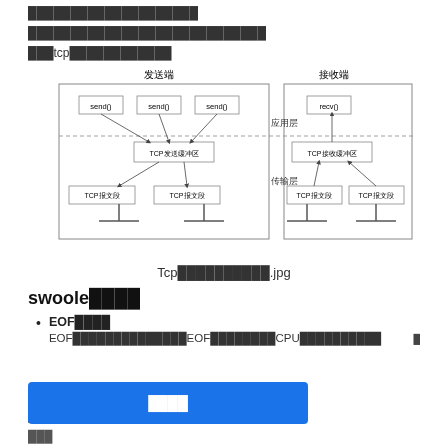████████████████████
████████████████████████████
███tcp████████████
[Figure (schematic): TCP send/receive buffer diagram showing sender side with send() calls feeding into TCP发送缓冲区 and TCP报文段, and receiver side with recv() reading from TCP接收缓冲区 fed by TCP报文段. Labels: 发送端 (sender), 接收端 (receiver), 应用层 (application layer), 传输层 (transport layer).]
Tcp██████████.jpg
swoole████
EOF████
EOF██████████████EOF████████CPU██████████
█████Cookie█████████  ████
████